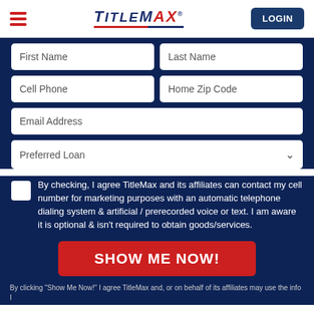TitleMax — LOGIN
First Name
Last Name
Cell Phone
Home Zip Code
Email Address
Preferred Loan
By checking, I agree TitleMax and its affiliates can contact my cell number for marketing purposes with an automatic telephone dialing system & artificial / prerecorded voice or text. I am aware it is optional & isn't required to obtain goods/services.
SHOW ME NOW!
By clicking "Show Me Now!" I agree TitleMax and, or on behalf of its affiliates may use the info I